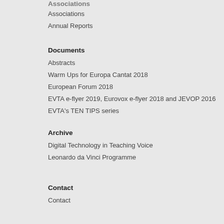Associations
Associations
Annual Reports
Documents
Abstracts
Warm Ups for Europa Cantat 2018
European Forum 2018
EVTA e-flyer 2019, Eurovox e-flyer 2018 and JEVOP 2016
EVTA's TEN TIPS series
Archive
Digital Technology in Teaching Voice
Leonardo da Vinci Programme
Contact
Contact